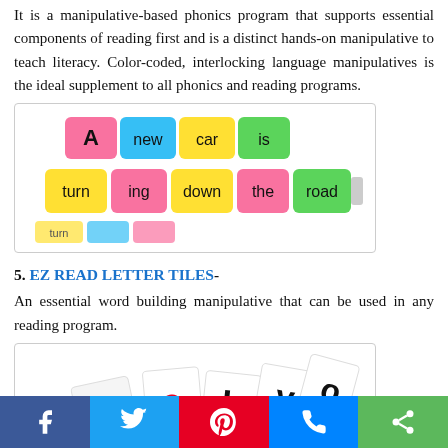It is a manipulative-based phonics program that supports essential components of reading first and is a distinct hands-on manipulative to teach literacy. Color-coded, interlocking language manipulatives is the ideal supplement to all phonics and reading programs.
[Figure (photo): Colorful interlocking letter/word tile manipulatives spelling out 'A new car is' and 'turn ing down the road' in bright colored blocks]
5. EZ READ LETTER TILES-
An essential word building manipulative that can be used in any reading program.
[Figure (photo): Letter tiles with individual letters scattered, showing letters like E, a, b, y, o on white tiles]